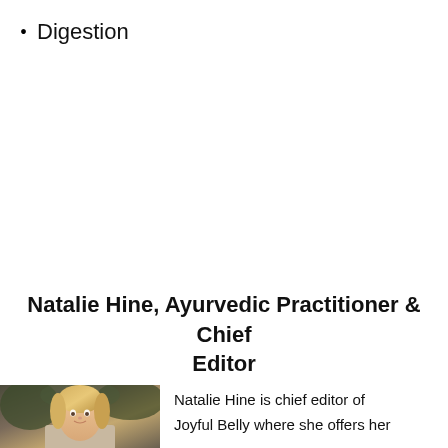Digestion
Natalie Hine, Ayurvedic Practitioner & Chief Editor
[Figure (photo): Portrait photo of a blonde woman outdoors]
Natalie Hine is chief editor of Joyful Belly where she offers her